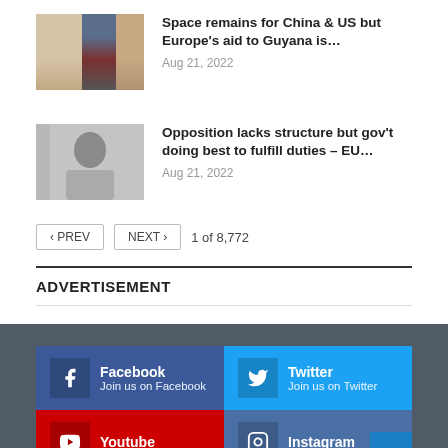[Figure (photo): Thumbnail image showing multiple people including EU officials]
Space remains for China & US but Europe's aid to Guyana is…
Aug 21, 2022
[Figure (photo): Thumbnail image showing a man in a grey suit]
Opposition lacks structure but gov't doing best to fulfill duties – EU…
Aug 21, 2022
‹ PREV   NEXT ›   1 of 8,772
ADVERTISEMENT
Facebook — Join us on Facebook
Twitter — Join us on Twitter
Youtube
Instagram